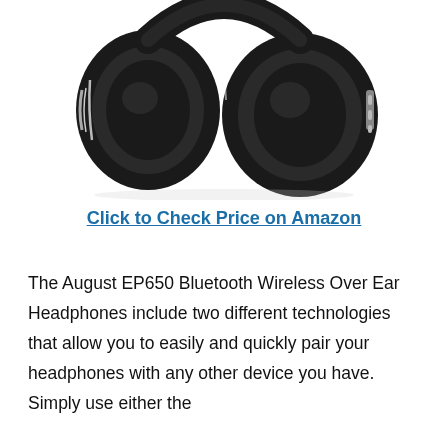[Figure (photo): Black over-ear Bluetooth wireless headphones (August EP650) shown folded, viewed from the front, with cushioned ear cups and a headband with silver accents.]
Click to Check Price on Amazon
The August EP650 Bluetooth Wireless Over Ear Headphones include two different technologies that allow you to easily and quickly pair your headphones with any other device you have. Simply use either the